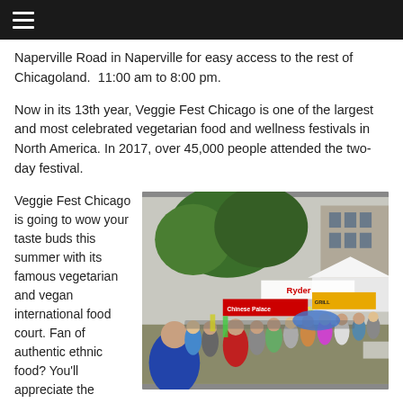≡ (hamburger menu)
Naperville Road in Naperville for easy access to the rest of Chicagoland.  11:00 am to 8:00 pm.
Now in its 13th year, Veggie Fest Chicago is one of the largest and most celebrated vegetarian food and wellness festivals in North America. In 2017, over 45,000 people attended the two-day festival.
Veggie Fest Chicago is going to wow your taste buds this summer with its famous vegetarian and vegan international food court. Fan of authentic ethnic food? You'll appreciate the variety of vegetarian entrees
[Figure (photo): Outdoor crowd at Veggie Fest Chicago festival with vendor tents including Ryder, Chinese Palace, and Grill stands visible, many attendees milling around on a sunny day.]